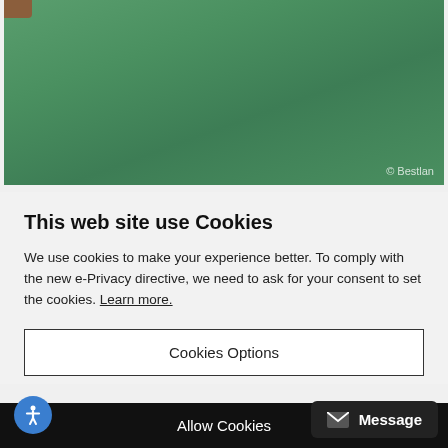[Figure (photo): Photo of green fabric/textile surface with a brown corner element at top left and a watermark '© Bestlan' at bottom right]
This web site use Cookies
We use cookies to make your experience better. To comply with the new e-Privacy directive, we need to ask for your consent to set the cookies. Learn more.
Cookies Options
Allow Cookies